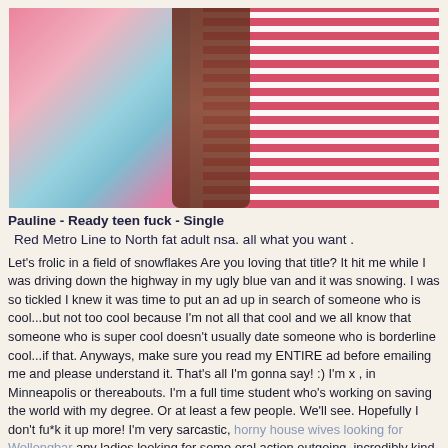[Figure (photo): Photo of a young woman with long dark hair wearing a red and white striped top, with colorful background]
Pauline - Ready teen fuck - Single
Red Metro Line to North fat adult nsa. all what you want .
Let's frolic in a field of snowflakes Are you loving that title? It hit me while I was driving down the highway in my ugly blue van and it was snowing. I was so tickled I knew it was time to put an ad up in search of someone who is cool...but not too cool because I'm not all that cool and we all know that someone who is super cool doesn't usually date someone who is borderline cool...if that. Anyways, make sure you read my ENTIRE ad before emailing me and please understand it. That's all I'm gonna say! :) I'm x , in Minneapolis or thereabouts. I'm a full time student who's working on saving the world with my degree. Or at least a few people. We'll see. Hopefully I don't fu*k it up more! I'm very sarcastic, horny house wives looking for Wollongbar any ladies looking for some oral action outgoing, incredibly kind and empathetic. Depending on if you ask me or other people I'm either somewhat cute or extremely gorgeous or somewhere in between. Beauty is in the eye of the beholder so really, who knows? I love coffee more than anyone should ever love coffee, wine, laughing, movies, books...I admit I